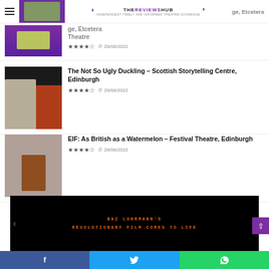THE REVIEWS HUB — Independent timely and informed theatre coverage
Village, Etcetera Theatre — ★★★★☆ 28/08/2022
The Not So Ugly Duckling – Scottish Storytelling Centre, Edinburgh — ★★★★☆ 28/08/2022
EIF: As British as a Watermelon – Festival Theatre, Edinburgh — ★★★★☆ 28/08/2022
[Figure (screenshot): Dark film poster/video thumbnail with orange text reading BAZ LUHRMANN'S REVOLUTIONARY FILM COMES TO LIFE]
Facebook share | Twitter share | WhatsApp share